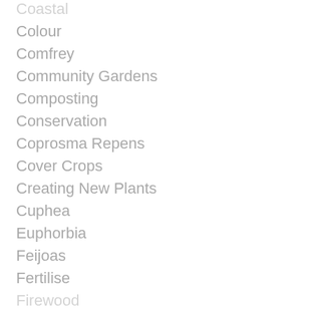Coastal
Colour
Comfrey
Community Gardens
Composting
Conservation
Coprosma Repens
Cover Crops
Creating New Plants
Cuphea
Euphorbia
Feijoas
Fertilise
Firewood